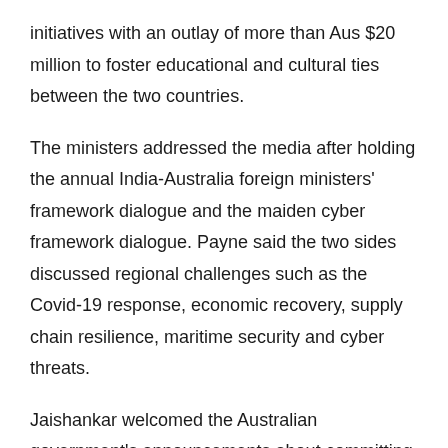initiatives with an outlay of more than Aus $20 million to foster educational and cultural ties between the two countries.
The ministers addressed the media after holding the annual India-Australia foreign ministers' framework dialogue and the maiden cyber framework dialogue. Payne said the two sides discussed regional challenges such as the Covid-19 response, economic recovery, supply chain resilience, maritime security and cyber threats.
Jaishankar welcomed the Australian government's announcements about committing additional resources to deepen the partnership with India.